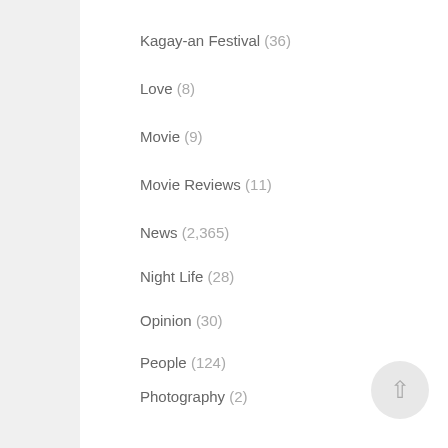Kagay-an Festival (36)
Love (8)
Movie (9)
Movie Reviews (11)
News (2,365)
Night Life (28)
Opinion (30)
People (124)
Photography (2)
Politics (92)
Press Releases (31)